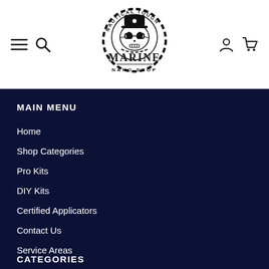[Figure (logo): Marine Nano Shop logo — skull wearing a captain's hat surrounded by chain, with text 'NAUTICAL TOUGH' arcing above and 'MARINE NANO SHOP' below]
MAIN MENU
Home
Shop Categories
Pro Kits
DIY Kits
Certified Applicators
Contact Us
Service Areas
CATEGORIES